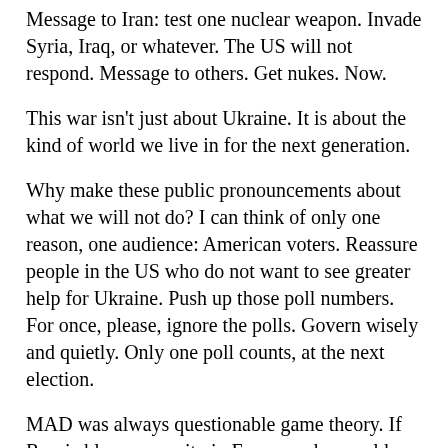Message to Iran: test one nuclear weapon. Invade Syria, Iraq, or whatever. The US will not respond. Message to others. Get nukes. Now.
This war isn't just about Ukraine. It is about the kind of world we live in for the next generation.
Why make these public pronouncements about what we will not do? I can think of only one reason, one audience: American voters. Reassure people in the US who do not want to see greater help for Ukraine. Push up those poll numbers. For once, please, ignore the polls. Govern wisely and quietly. Only one poll counts, at the next election.
MAD was always questionable game theory. If Russia blows up a city in Europe, why would NATO murder tens of millions of Russian civilians in response? A hardy conventional response was always important.
But at least the rules of the game were clear: The nuclear threat is respected for invasions of a country that has them, or invasions of allies such as NATO. Nuclear threats do not apply to invasions of third countries. Yes, we do what we can